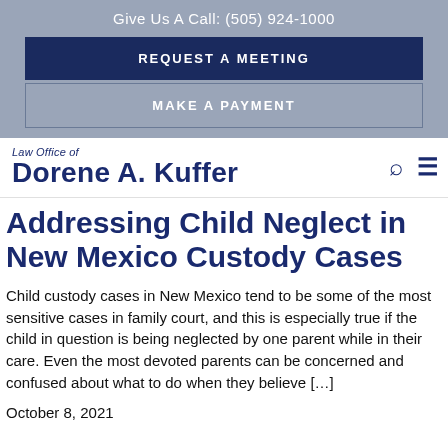Give Us A Call: (505) 924-1000
REQUEST A MEETING
MAKE A PAYMENT
Law Office of Dorene A. Kuffer
Addressing Child Neglect in New Mexico Custody Cases
Child custody cases in New Mexico tend to be some of the most sensitive cases in family court, and this is especially true if the child in question is being neglected by one parent while in their care. Even the most devoted parents can be concerned and confused about what to do when they believe [...]
October 8, 2021